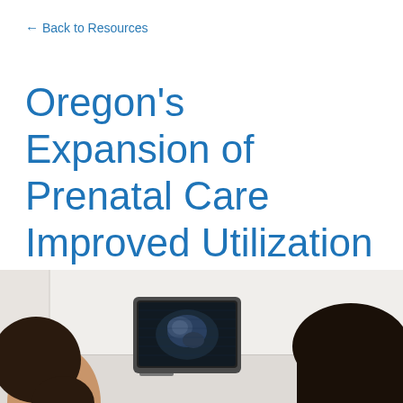← Back to Resources
Oregon's Expansion of Prenatal Care Improved Utilization Among Immigrant Women
[Figure (photo): A medical scene showing a patient and a healthcare provider viewing an ultrasound screen, with a third person visible. The image is cropped showing the tops of heads and the ultrasound monitor displaying a fetal image.]